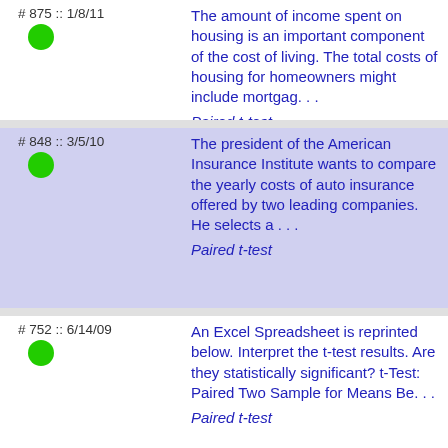# 875 :: 1/8/11
The amount of income spent on housing is an important component of the cost of living. The total costs of housing for homeowners might include mortgag. . .
Paired t-test
# 848 :: 3/5/10
The president of the American Insurance Institute wants to compare the yearly costs of auto insurance offered by two leading companies. He selects a . . .
Paired t-test
# 752 :: 6/14/09
An Excel Spreadsheet is reprinted below. Interpret the t-test results. Are they statistically significant? t-Test: Paired Two Sample for Means Be. . .
Paired t-test